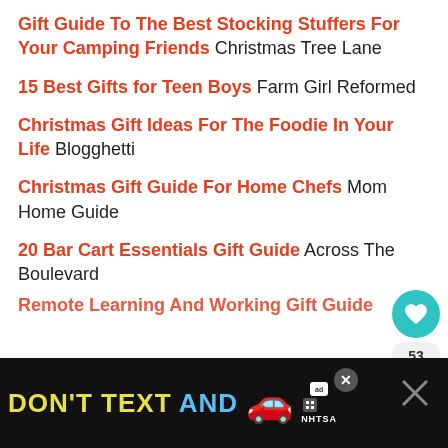Gift Guide To The Best Stocking Stuffers For Your Camping Friends – Christmas Tree Lane
15 Best Gifts for Teen Boys – Farm Girl Reformed
Christmas Gift Ideas For The Foodie In Your Life – Blogghetti
Christmas Gift Guide For Home Chefs – Mom Home Guide
20 Bar Cart Essentials Gift Guide – Across The Boulevard
Remote Learning And Working Gift Guide
[Figure (screenshot): Ad banner at bottom: DON'T TEXT AND [car emoji] with ad badge and NHTSA logo on dark background, with close X buttons]
[Figure (infographic): Floating action buttons: heart (teal circle, 53 count) and share button on right side]
[Figure (screenshot): What's Next panel showing Kitchen Christmas G... with circular thumbnail]